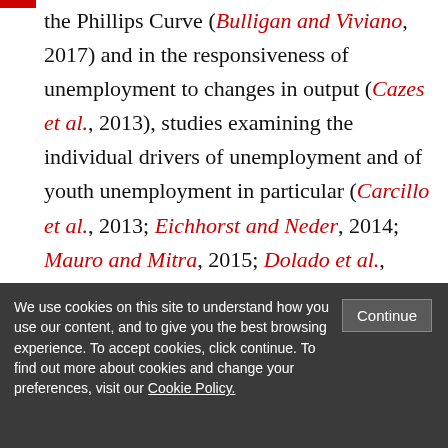the Phillips Curve (Bulligan and Viviano, 2017) and in the responsiveness of unemployment to changes in output (Cazes et al., 2013), studies examining the individual drivers of unemployment and of youth unemployment in particular (Carcillo et al., 2013; Eichhorst and Neder, 2014; Mauro and Mitra, 2015; Dolado et al., 2013; Kelly and McGuinness, 2015), as well as a limited number of studies examining labour market
We use cookies on this site to understand how you use our content, and to give you the best browsing experience. To accept cookies, click continue. To find out more about cookies and change your preferences, visit our Cookie Policy.